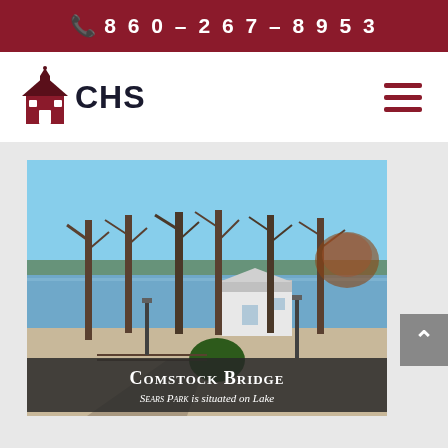860-267-8953
[Figure (logo): CHS schoolhouse logo with red barn-style building icon and bold CHS text]
[Figure (photo): Outdoor park scene with tall bare trees, a lake in the background, a white building, and a paved pathway — Sears Park on a lake]
Comstock Bridge
Sears Park is situated on Lake